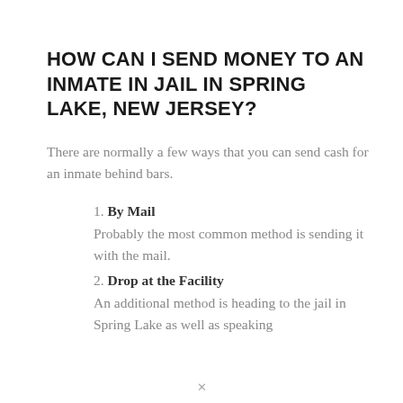HOW CAN I SEND MONEY TO AN INMATE IN JAIL IN SPRING LAKE, NEW JERSEY?
There are normally a few ways that you can send cash for an inmate behind bars.
1. By Mail
Probably the most common method is sending it with the mail.
2. Drop at the Facility
An additional method is heading to the jail in Spring Lake as well as speaking